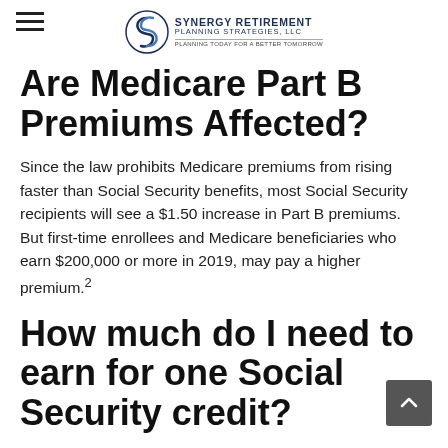Synergy Retirement Planning Strategies, LLC — Planning today for a better tomorrow
Are Medicare Part B Premiums Affected?
Since the law prohibits Medicare premiums from rising faster than Social Security benefits, most Social Security recipients will see a $1.50 increase in Part B premiums. But first-time enrollees and Medicare beneficiaries who earn $200,000 or more in 2019, may pay a higher premium.²
How much do I need to earn for one Social Security credit?